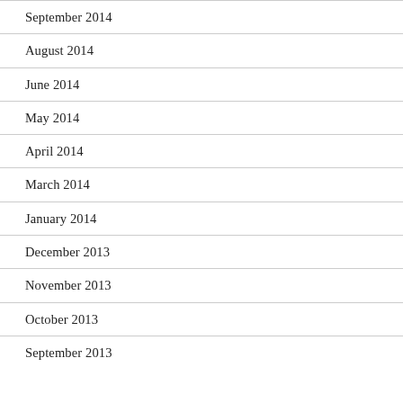September 2014
August 2014
June 2014
May 2014
April 2014
March 2014
January 2014
December 2013
November 2013
October 2013
September 2013